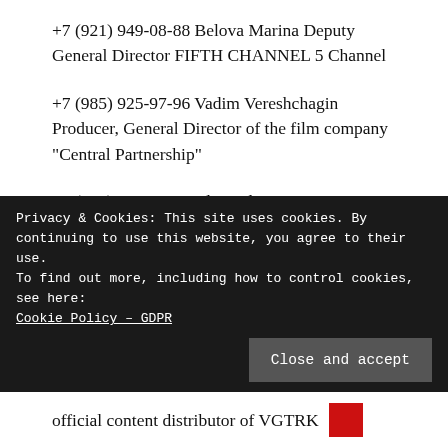+7 (921) 949-08-88 Belova Marina Deputy General Director FIFTH CHANNEL 5 Channel
+7 (985) 925-97-96 Vadim Vereshchagin Producer, General Director of the film company “Central Partnership”
+7 (915) 462-70-21 Alexander Kosarim Director General of Media-Telcom
Privacy & Cookies: This site uses cookies. By continuing to use this website, you agree to their use.
To find out more, including how to control cookies, see here: Cookie Policy – GDPR
Close and accept
official content distributor of VGTRK